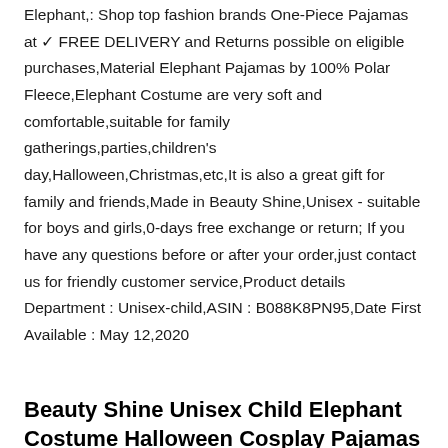Elephant,: Shop top fashion brands One-Piece Pajamas at ✓ FREE DELIVERY and Returns possible on eligible purchases,Material Elephant Pajamas by 100% Polar Fleece,Elephant Costume are very soft and comfortable,suitable for family gatherings,parties,children's day,Halloween,Christmas,etc,It is also a great gift for family and friends,Made in Beauty Shine,Unisex - suitable for boys and girls,0-days free exchange or return; If you have any questions before or after your order,just contact us for friendly customer service,Product details Department : Unisex-child,ASIN : B088K8PN95,Date First Available : May 12,2020
Beauty Shine Unisex Child Elephant Costume Halloween Cosplay Pajamas